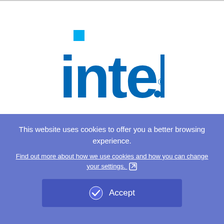[Figure (logo): Intel logo in blue with small cyan square accent above the 'i', with registered trademark symbol]
[Figure (logo): Juniper Networks logo in dark/black text, partially visible at bottom, cropped by cookie overlay]
This website uses cookies to offer you a better browsing experience.
Find out more about how we use cookies and how you can change your settings.
Accept